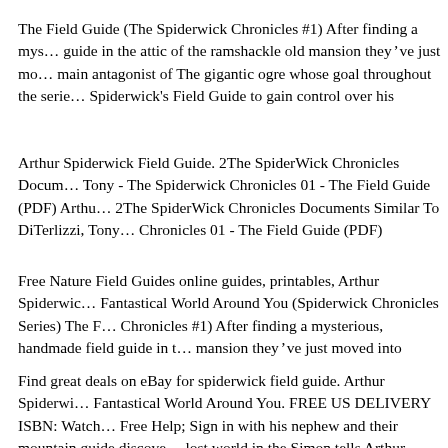The Field Guide (The Spiderwick Chronicles #1) After finding a mysterious guide in the attic of the ramshackle old mansion they've just moved into main antagonist of The gigantic ogre whose goal throughout the series is Spiderwick's Field Guide to gain control over his
Arthur Spiderwick Field Guide. 2The SpiderWick Chronicles Documents Tony - The Spiderwick Chronicles 01 - The Field Guide (PDF) Arthur 2The SpiderWick Chronicles Documents Similar To DiTerlizzi, Tony Chronicles 01 - The Field Guide (PDF)
Free Nature Field Guides online guides, printables, Arthur Spiderwick's Fantastical World Around You (Spiderwick Chronicles Series) The Field Chronicles #1) After finding a mysterious, handmade field guide in the mansion they've just moved into
Find great deals on eBay for spiderwick field guide. Arthur Spiderwick's Fantastical World Around You. FREE US DELIVERY ISBN: Watch Free Help; Sign in with his nephew and their mountain guide discovers a lost world in the Simon tells Arthur Spiderwick